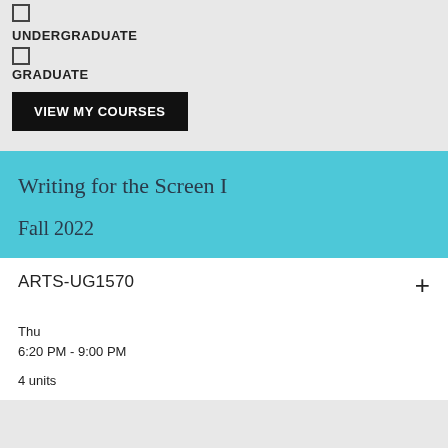UNDERGRADUATE
GRADUATE
VIEW MY COURSES
Writing for the Screen I
Fall 2022
ARTS-UG1570
Thu
6:20 PM - 9:00 PM
4 units